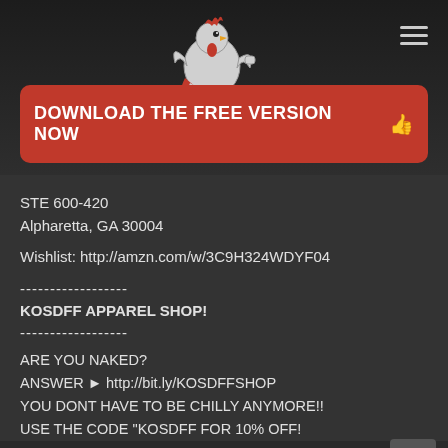[Figure (logo): Cheats Farm logo - rooster mascot with text 'CHEATS FARM']
[Figure (other): Hamburger menu icon (three horizontal lines) in top right corner]
DOWNLOAD THE FREE VERSION NOW 👍
STE 600-420
Alpharetta, GA 30004
Wishlist: http://amzn.com/w/3C9H324WDYF04
------------------
KOSDFF APPAREL SHOP!
------------------
ARE YOU NAKED?
ANSWER ► http://bit.ly/KOSDFFSHOP
YOU DONT HAVE TO BE CHILLY ANYMORE!!
USE THE CODE "KOSDFF FOR 10% OFF!